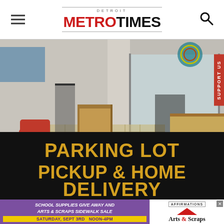DETROIT METROTIMES
[Figure (photo): Interior of a motorcycle/retail gallery space with dark tile floors, display cases, wooden crates, and a motorcycle visible through large glass doors. Bottom portion has black background with gold text reading PARKING LOT PICKUP & HOME DELIVERY]
[Figure (infographic): Advertisement banner: purple background with white italic text 'SCHOOL SUPPLIES GIVE AWAY AND ARTS & SCRAPS SIDEWALK SALE', yellow bar with text 'SATURDAY, SEPT 3RD  NOON-4PM', and Affirmations / Arts & Scraps logo on the right]